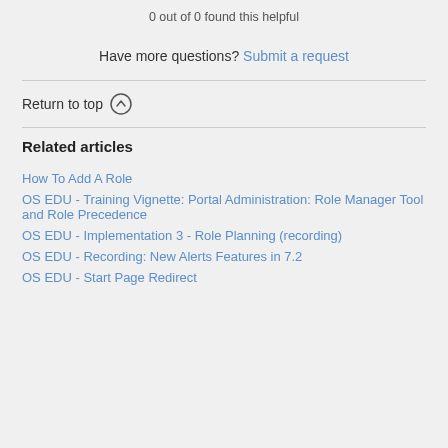0 out of 0 found this helpful
Have more questions? Submit a request
Return to top
Related articles
How To Add A Role
OS EDU - Training Vignette: Portal Administration: Role Manager Tool and Role Precedence
OS EDU - Implementation 3 - Role Planning (recording)
OS EDU - Recording: New Alerts Features in 7.2
OS EDU - Start Page Redirect